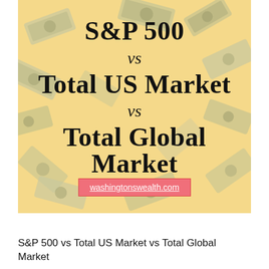[Figure (illustration): Yellow/gold background with scattered US dollar bills flying around. Text overlay reads: S&P 500 vs Total US Market vs Total Global Market. A pink/red banner at the bottom shows the website URL washingtonswealth.com]
S&P 500 vs Total US Market vs Total Global Market